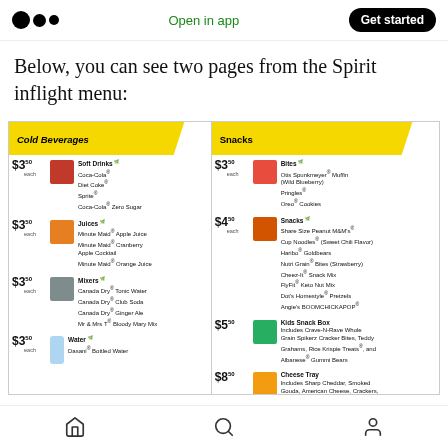Open in app | Get started
Below, you can see two pages from the Spirit inflight menu:
[Figure (photo): Two pages from the Spirit inflight menu showing Cold Beverages (left) and Snacks (right). Cold Beverages: Soft Drinks $3.50 each (Coca-Cola, Diet Coke, Sprite, Coca-Cola Zero Sugar), Juices $3.50 each (Minute Maid Apple Juice, Minute Maid Cranberry Apple Cocktail, Minute Maid Orange Juice), Mixers $3.50 each (Canada Dry Tonic Water, Canada Dry Club Soda, Canada Dry Ginger Ale, Mr & Mrs T Bloody Mary Mix), Water $3.50 each (Dasani Bottled Water). Snacks: Bites $3.50 each (Otis Spunkmeyer Muffin Wild Blueberry, Pringles, Oreo Cookies), Snacks $4.50 each (Share Size Peanut M&Ms, Cup Noodles Sweet Chili Flavor, Haribo Goldbears, Nutri Grain Bites Strawberry, Cheez-It Snack Mix, FlyFit Keto Nut Mix, Dot's Homestyle Pretzels, Angie's BOOMCHICKAPOP), Kids Snack Box $5.50 (Includes Crave-N-Rave Whole Grain Spikerz Cracker Bites, Teddy Grahams, Rice Krispie Treats and Albanese Gummi Bears), Cheese Tray $8.50 (Includes Sharp Cheddar, Smoked Gouda, American Cheese, Crackers, Dried Apples and Cranberries)]
Home | Search | Profile